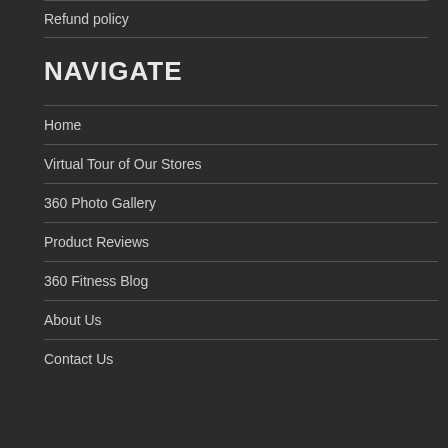Refund policy
NAVIGATE
Home
Virtual Tour of Our Stores
360 Photo Gallery
Product Reviews
360 Fitness Blog
About Us
Contact Us